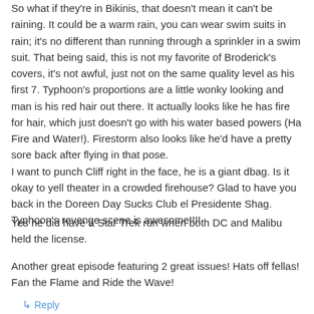So what if they're in Bikinis, that doesn't mean it can't be raining. It could be a warm rain, you can wear swim suits in rain; it's no different than running through a sprinkler in a swim suit. That being said, this is not my favorite of Broderick's covers, it's not awful, just not on the same quality level as his first 7. Typhoon's proportions are a little wonky looking and man is his red hair out there. It actually looks like he has fire for hair, which just doesn't go with his water based powers (Ha Fire and Water!). Firestorm also looks like he'd have a pretty sore back after flying in that pose.
I want to punch Cliff right in the face, he is a giant dbag. Is it okay to yell theater in a crowded firehouse? Glad to have you back in the Doreen Day Sucks Club el Presidente Shag. Typhoon's revenge scene is awesome!!!!
Yes he did have a Star Trek run when both DC and Malibu held the license.
Another great episode featuring 2 great issues! Hats off fellas! Fan the Flame and Ride the Wave!
↳ Reply